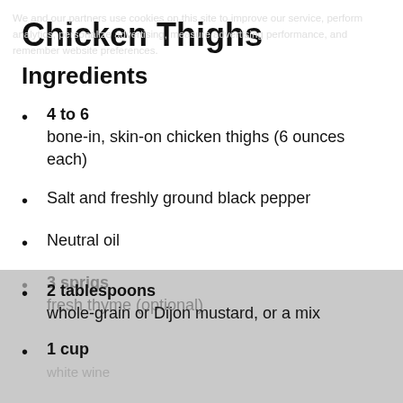Chicken Thighs
Ingredients
4 to 6 bone-in, skin-on chicken thighs (6 ounces each)
Salt and freshly ground black pepper
Neutral oil
3 sprigs fresh thyme (optional)
2 tablespoons whole-grain or Dijon mustard, or a mix
1 cup white wine
We and our partners use cookies on this site to improve our service, perform analytics, personalize advertising, measure advertising performance, and remember website preferences.